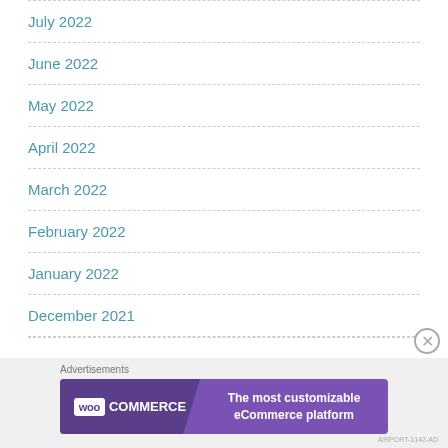July 2022
June 2022
May 2022
April 2022
March 2022
February 2022
January 2022
December 2021
Advertisements
[Figure (other): WooCommerce advertisement banner: 'The most customizable eCommerce platform']